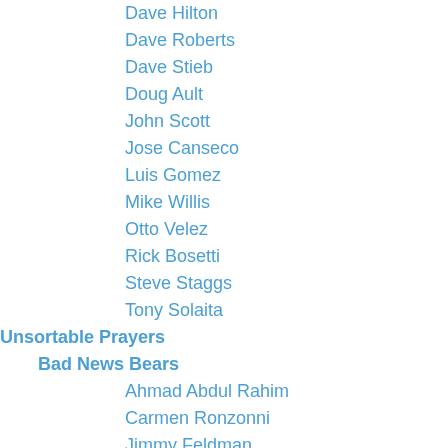Dave Hilton
Dave Roberts
Dave Stieb
Doug Ault
John Scott
Jose Canseco
Luis Gomez
Mike Willis
Otto Velez
Rick Bosetti
Steve Staggs
Tony Solaita
Unsortable Prayers
Bad News Bears
Ahmad Abdul Rahim
Carmen Ronzonni
Jimmy Feldman
Kelly Leak
Rudi Stein
Tanner Boyle